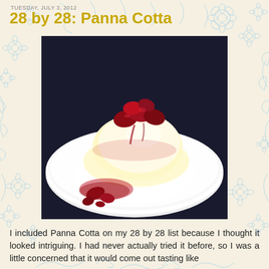TUESDAY, JULY 3, 2012
28 by 28: Panna Cotta
[Figure (photo): A white panna cotta dessert unmolded onto a white plate, topped with macerated red strawberries and berry sauce drizzled around.]
I included Panna Cotta on my 28 by 28 list because I thought it looked intriguing.  I had never actually tried it before, so I was a little concerned that it would come out tasting like